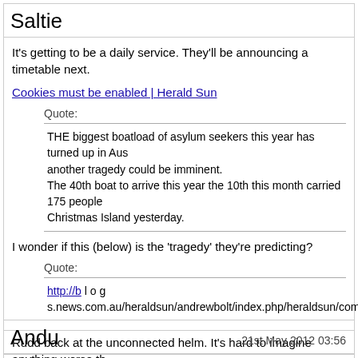Saltie
It's getting to be a daily service. They'll be announcing a timetable next.
Cookies must be enabled | Herald Sun
Quote:
THE biggest boatload of asylum seekers this year has turned up in Aus... another tragedy could be imminent.
The 40th boat to arrive this year the 10th this month carried 175 people... Christmas Island yesterday.
I wonder if this (below) is the 'tragedy' they're predicting?
Quote:
http://b l o g s.news.com.au/heraldsun/andrewbolt/index.php/heraldsun/comments/c
Rudd back at the unconnected helm. It's hard to imagine anything worse th
Andu
21st May 2012 03:56